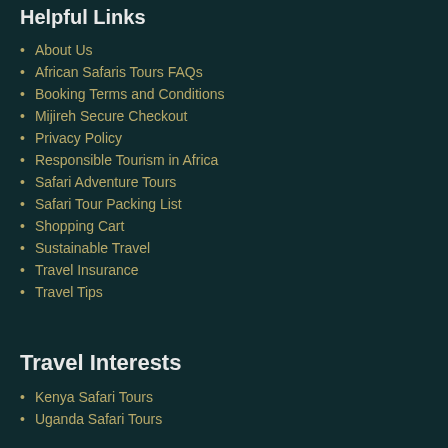Helpful Links
About Us
African Safaris Tours FAQs
Booking Terms and Conditions
Mijireh Secure Checkout
Privacy Policy
Responsible Tourism in Africa
Safari Adventure Tours
Safari Tour Packing List
Shopping Cart
Sustainable Travel
Travel Insurance
Travel Tips
Travel Interests
Kenya Safari Tours
Uganda Safari Tours